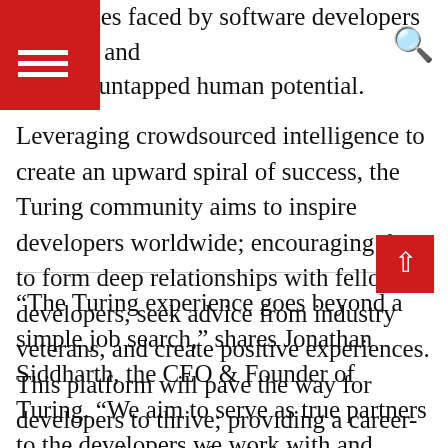challenges faced by software developers globally and unleash untapped human potential.
Leveraging crowdsourced intelligence to create an upward spiral of success, the Turing community aims to inspire developers worldwide; encouraging them to form deep relationships with fellow developers, seek advice from industry veterans, and create positive experiences. This platform will pave the way for developers to thrive; providing a career-centric, safe space for developers to grow, seek guidance, hone their skills, and find jobs.
“The Turing experience goes beyond a simple job search,” shares Jonathan Siddharth, the CEO & Founder of Turing. “We aim to serve as true partners to the developers we work with and equip them with the tools necessary to experience personal and professional breakthroughs. With our diverse range of offerings, and now the Turing Community, we will walk hand in hand